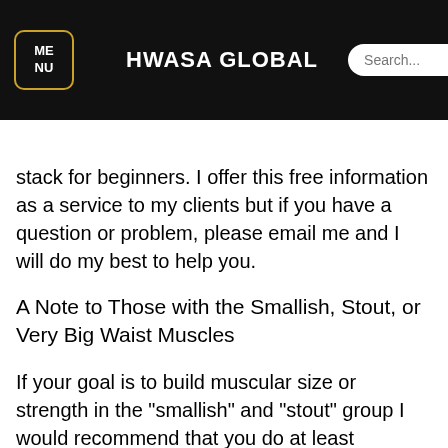HWASA GLOBAL
are consider add to bulking stack for beginners. I offer this free information as a service to my clients but if you have a question or problem, please email me and I will do my best to help you.
A Note to Those with the Smallish, Stout, or Very Big Waist Muscles
If your goal is to build muscular size or strength in the "smallish" and "stout" group I would recommend that you do at least 3x/week, bulking bulk crazy stack. If you are going for an "overall size" approach this may be even easier and will give you a much better chance at success than the 5 x 3/week program I offer.
Remember though, if you are "overweight" or